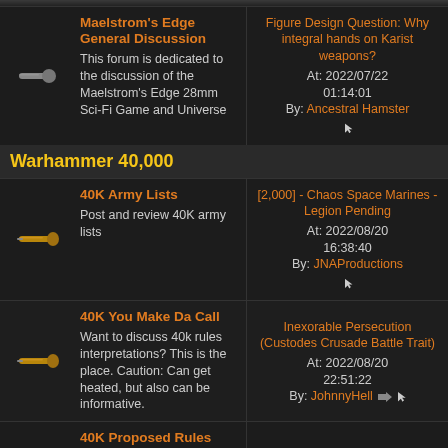| Icon | Forum | Last Post |
| --- | --- | --- |
| [bullet icon] | Maelstrom's Edge General Discussion
This forum is dedicated to the discussion of the Maelstrom's Edge 28mm Sci-Fi Game and Universe | Figure Design Question: Why integral hands on Karist weapons?
At: 2022/07/22 01:14:01
By: Ancestral Hamster |
Warhammer 40,000
| Icon | Forum | Last Post |
| --- | --- | --- |
| [bullet icon] | 40K Army Lists
Post and review 40K army lists | [2,000] - Chaos Space Marines - Legion Pending
At: 2022/08/20 16:38:40
By: JNAProductions |
| [bullet icon] | 40K You Make Da Call
Want to discuss 40k rules interpretations? This is the place. Caution: Can get heated, but also can be informative. | Inexorable Persecution (Custodes Crusade Battle Trait)
At: 2022/08/20 22:51:22
By: JohnnyHell |
| [bullet icon] | 40K Proposed Rules
Want to discuss how a | Improving the Missile |